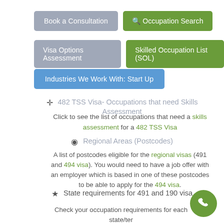Book a Consultation
Occupation Search
Visa Options Assessment
Skilled Occupation List (SOL)
Industries We Work With: Start Up
482 TSS Visa- Occupations that need Skills Assessment
Click to see the list of occupations that need a skills assessment for a 482 TSS Visa
Regional Areas (Postcodes)
A list of postcodes eligible for the regional visas (491 and 494 visa). You would need to have a job offer with an employer which is based in one of these postcodes to be able to apply for the 494 visa.
State requirements for 491 and 190 visa
Check your occupation requirements for each state/ter...